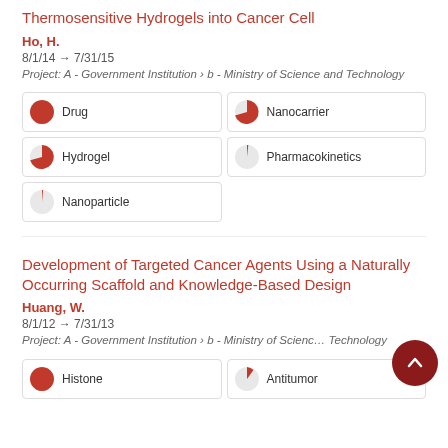Thermosensitive Hydrogels into Cancer Cell
Ho, H.
8/1/14 → 7/31/15
Project: A - Government Institution › b - Ministry of Science and Technology
[Figure (infographic): Five keyword tags with pie-chart icons showing relative proportions: Drug (100%), Nanocarrier (75%), Hydrogel (75%), Pharmacokinetics (10%), Nanoparticle (8%)]
Development of Targeted Cancer Agents Using a Naturally Occurring Scaffold and Knowledge-Based Design
Huang, W.
8/1/12 → 7/31/13
Project: A - Government Institution › b - Ministry of Science and Technology
[Figure (infographic): Two keyword tags visible: Histone (100%), Antitumor (30%)]